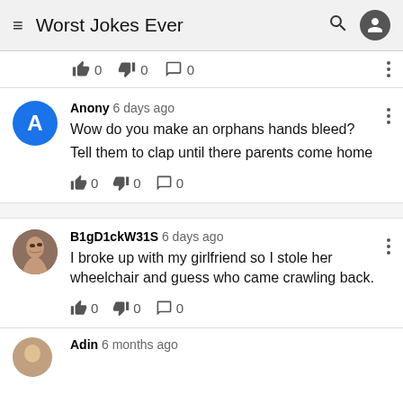Worst Jokes Ever
0  0  0
Anony 6 days ago
Wow do you make an orphans hands bleed?
Tell them to clap until there parents come home
0  0  0
B1gD1ckW31S 6 days ago
I broke up with my girlfriend so I stole her wheelchair and guess who came crawling back.
0  0  0
Adin 6 months ago